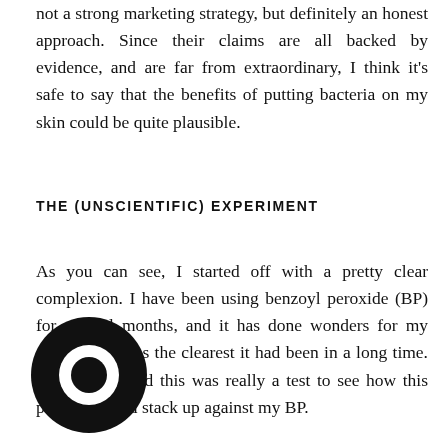not a strong marketing strategy, but definitely an honest approach. Since their claims are all backed by evidence, and are far from extraordinary, I think it's safe to say that the benefits of putting bacteria on my skin could be quite plausible.
THE (UNSCIENTIFIC) EXPERIMENT
As you can see, I started off with a pretty clear complexion. I have been using benzoyl peroxide (BP) for several months, and it has done wonders for my acne – skin was the clearest it had been in a long time. Moving forward this was really a test to see how this product would stack up against my BP.
[Figure (logo): Black circular logo overlaying the bottom-left area of the text]